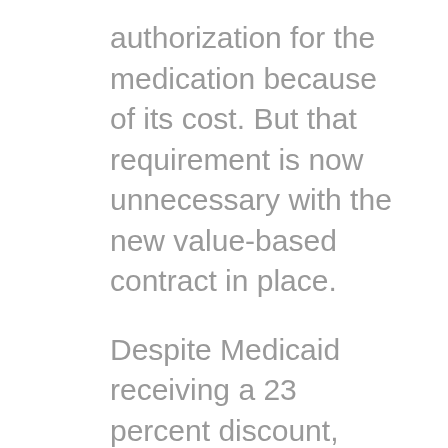authorization for the medication because of its cost. But that requirement is now unnecessary with the new value-based contract in place.
Despite Medicaid receiving a 23 percent discount, most state programs spend billions annually on medications.  Rising drug prices and enrollment have states feeling pressure to contain costs. Value-based contracting ties limited health care dollars to positive patient outcomes.  It can also enhance access to high-cost, high-value medications.
Other states are following Oklahoma's lead.  Michigan and Colorado, for